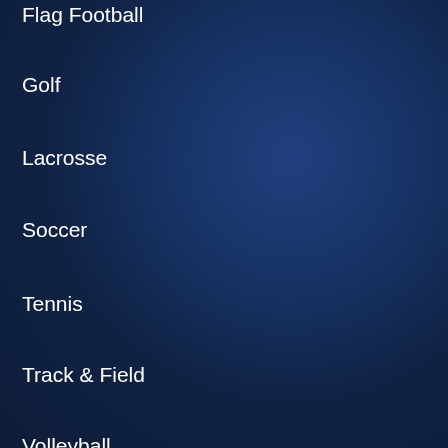Flag Football
Golf
Lacrosse
Soccer
Tennis
Track & Field
Volleyball
STEM Sports®
BROWSE THE SITE
Contact Us
FAQ
About